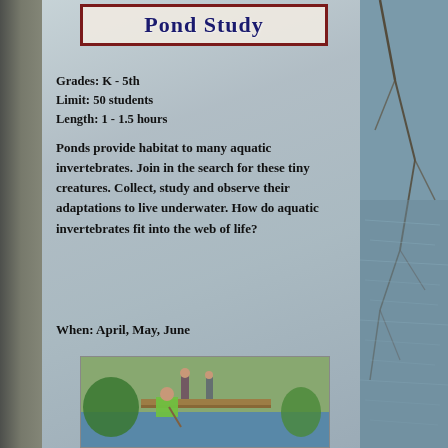Pond Study
Grades: K - 5th
Limit: 50 students
Length: 1 - 1.5 hours
Ponds provide habitat to many aquatic invertebrates. Join in the search for these tiny creatures. Collect, study and observe their adaptations to live underwater.  How do aquatic invertebrates fit into the web of life?
When: April, May, June
[Figure (photo): Children studying at a pond, one child in green shirt near water with a net, others standing on a dock with trees and green vegetation in background]